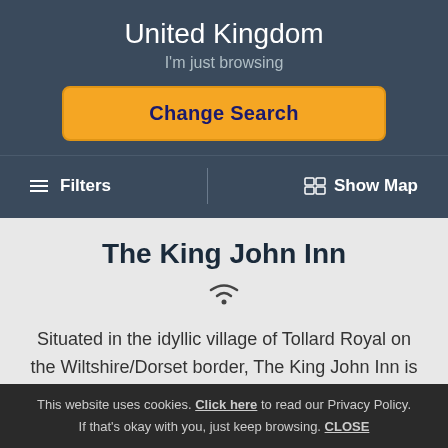United Kingdom
I'm just browsing
Change Search
≡ Filters
Show Map
The King John Inn
Situated in the idyllic village of Tollard Royal on the Wiltshire/Dorset border, The King John Inn is a gorgeous pub with rooms and award-winning dining
View
This website uses cookies. Click here to read our Privacy Policy. If that's okay with you, just keep browsing. CLOSE